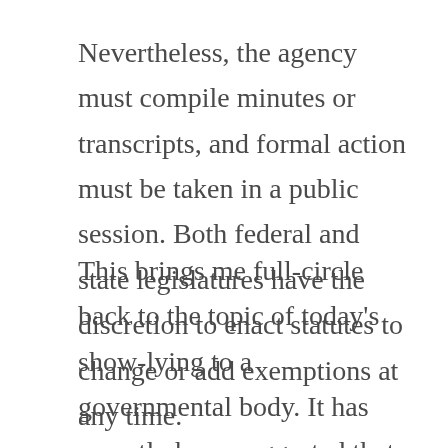Nevertheless, the agency must compile minutes or transcripts, and formal action must be taken in a public session. Both federal and state legislatures have the discretion to enact statutes to change or add exemptions at any time.
This brings me full-circle back to the topic of today's show-lying to a governmental body. It has recently been suggested that local government bodies such as city councils should put people under oath before allowing them to speak in front of that body. The reason for this